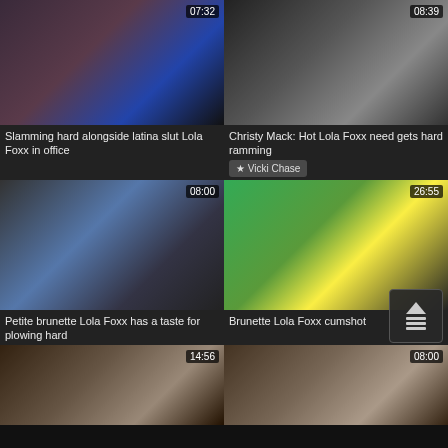[Figure (screenshot): Video thumbnail grid showing adult video content with titles and durations]
Slamming hard alongside latina slut Lola Foxx in office
Christy Mack: Hot Lola Foxx need gets hard ramming
★ Vicki Chase
Petite brunette Lola Foxx has a taste for plowing hard
Brunette Lola Foxx cumshot